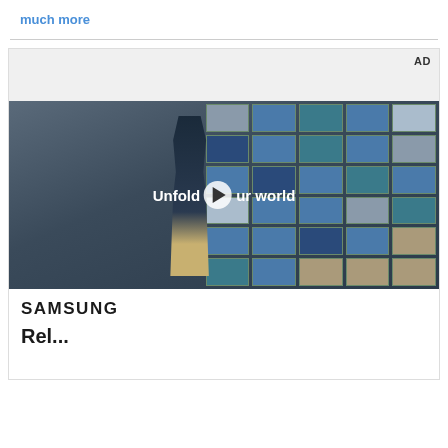much more
[Figure (screenshot): Samsung advertisement with video thumbnail showing a young man walking in a diner/cafe with tiled blue windows in the background. Text overlay reads 'Unfold your world' with a play button. Below the video is the Samsung logo and partial tagline text.]